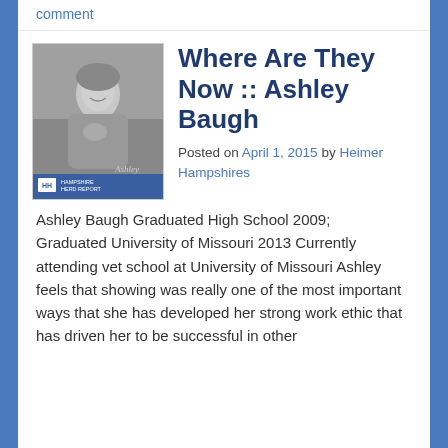comment
[Figure (photo): Black and white photo of Ashley Baugh, a young woman smiling, holding a small animal, outdoors. Photo has a blue label bar at the bottom with HH logo and text.]
Where Are They Now :: Ashley Baugh
Posted on April 1, 2015 by Heimer Hampshires
Ashley Baugh Graduated High School 2009; Graduated University of Missouri 2013 Currently attending vet school at University of Missouri Ashley feels that showing was really one of the most important ways that she has developed her strong work ethic that has driven her to be successful in other